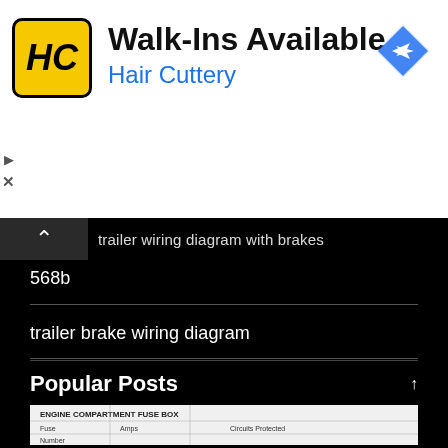[Figure (other): Hair Cuttery advertisement banner with logo, 'Walk-Ins Available' headline, 'Hair Cuttery' subheading in blue, and a navigation/directions icon on the right]
trailer wiring diagram with brakes
568b
trailer brake wiring diagram
4 flat trailer wiring diagram
7 pin trailer plug wiring diagram
outside telephone box wiring
club car wiring diagram 48v
Popular Posts
[Figure (screenshot): Partial image of a document showing an engine compartment fuse box diagram with columns for Fuse Number, Amps, and Circuit Protected]